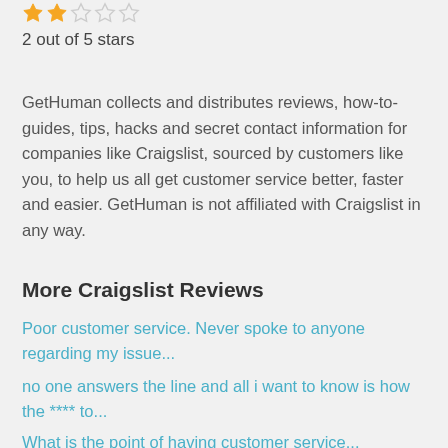[Figure (other): Star rating: 2 out of 5 stars shown as filled orange stars and empty outline stars]
2 out of 5 stars
GetHuman collects and distributes reviews, how-to-guides, tips, hacks and secret contact information for companies like Craigslist, sourced by customers like you, to help us all get customer service better, faster and easier. GetHuman is not affiliated with Craigslist in any way.
More Craigslist Reviews
Poor customer service. Never spoke to anyone regarding my issue...
no one answers the line and all i want to know is how the **** to...
What is the point of having customer service...